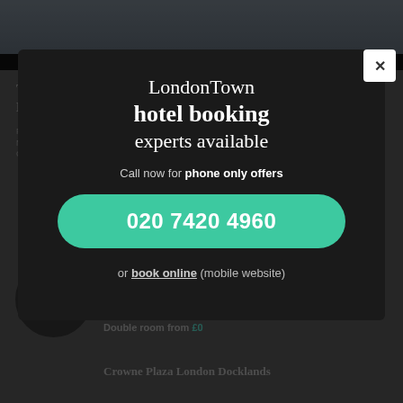[Figure (screenshot): Dimmed background showing a hotel booking webpage with hotel listings and a photo strip at the top]
LondonTown hotel booking experts available
Call now for phone only offers
020 7420 4960
or book online (mobile website)